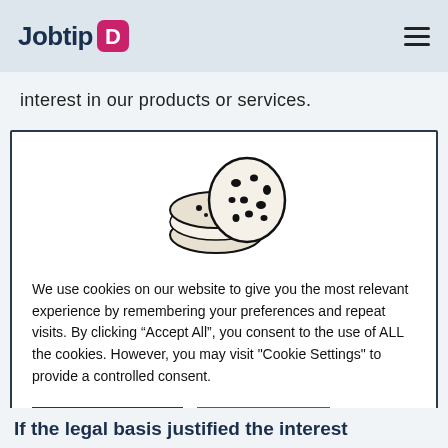Jobtip [logo]
interest in our products or services.
[Figure (illustration): Cookie illustration showing two cookies with spots/chocolate chips]
We use cookies on our website to give you the most relevant experience by remembering your preferences and repeat visits. By clicking “Accept All”, you consent to the use of ALL the cookies. However, you may visit "Cookie Settings" to provide a controlled consent.
Cookie Settings
Accept All
If the legal basis justified the interest